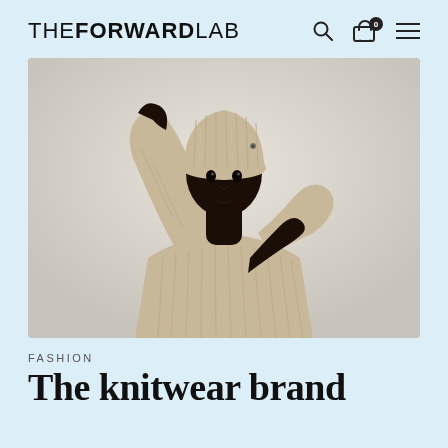THE FORWARD LAB
[Figure (photo): A model wearing a beige ribbed knit sweater and matching beige knit beanie hat, posing with arms crossed and one hand raised to the head against a light grey background.]
FASHION
The knitwear brand